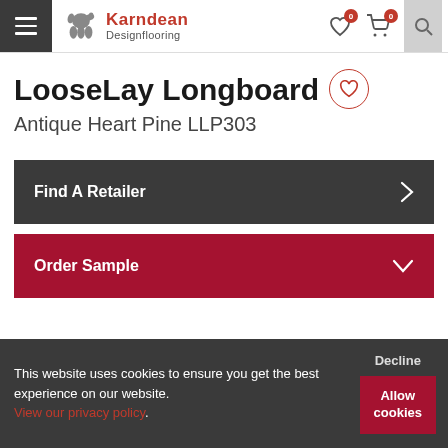Karndean Designflooring
LooseLay Longboard
Antique Heart Pine LLP303
Find A Retailer
Order Sample
This website uses cookies to ensure you get the best experience on our website. View our privacy policy. Decline Allow cookies